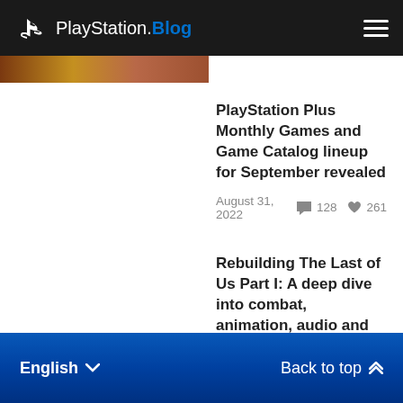PlayStation.Blog
PlayStation Plus Monthly Games and Game Catalog lineup for September revealed
August 31, 2022  128  261
Rebuilding The Last of Us Part I: A deep dive into combat, animation, audio and visual changes with Naughty Dog
August 29, 2022  58  184
English  Back to top